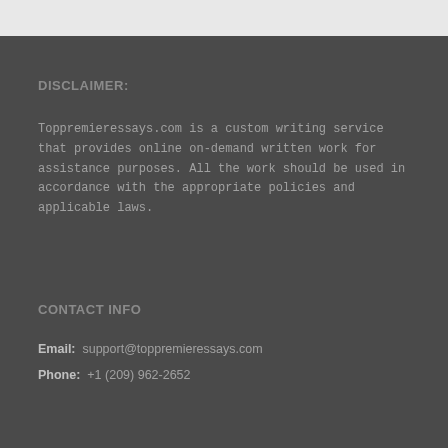DISCLAIMER:
Toppremieressays.com is a custom writing service that provides online on-demand written work for assistance purposes. All the work should be used in accordance with the appropriate policies and applicable laws.
CONTACT INFO
Email: support@toppremieressays.com
Phone: +1 (209) 962-2652